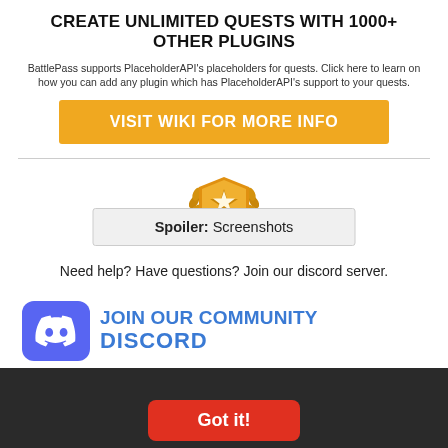CREATE UNLIMITED QUESTS WITH 1000+ OTHER PLUGINS
BattlePass supports PlaceholderAPI's placeholders for quests. Click here to learn on how you can add any plugin which has PlaceholderAPI's support to your quests.
VISIT WIKI FOR MORE INFO
[Figure (illustration): Gold shield badge with star emblem and laurel wreath]
Spoiler: Screenshots
Need help? Have questions? Join our discord server.
[Figure (infographic): Discord community join banner with blue Discord logo icon and text JOIN OUR COMMUNITY DISCORD]
We use cookies to ensure you get the best experience on our website, if you continue to browse you'll be acconsent with our Privacy policy.
Got it!